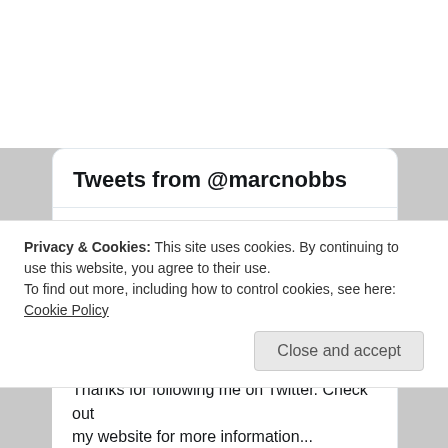[Figure (screenshot): Screenshot of a Twitter/social media widget showing tweets from @marcnobbs, with a profile avatar and tweet text, overlaid with a cookie consent banner.]
Tweets from @marcnobbs
Marc Nobbs @marcnobbs · 9h
I have a spreadsheet with a simplified timeline and a detailed calendar of the Westmouthshire Universe. I'm now at the point with "A Wounded Heart" where I need to add it to the timeline to keep track of events and avoid breaking the timeline. Yay!
Privacy & Cookies: This site uses cookies. By continuing to use this website, you agree to their use.
To find out more, including how to control cookies, see here: Cookie Policy
Close and accept
Thanks for following me on Twitter. Check out my website for more information...